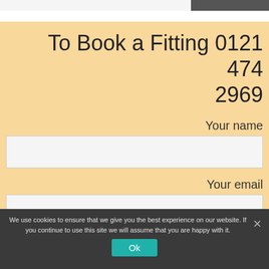To Book a Fitting 0121 474 2969
Your name
Your email
We use cookies to ensure that we give you the best experience on our website. If you continue to use this site we will assume that you are happy with it.
Ok